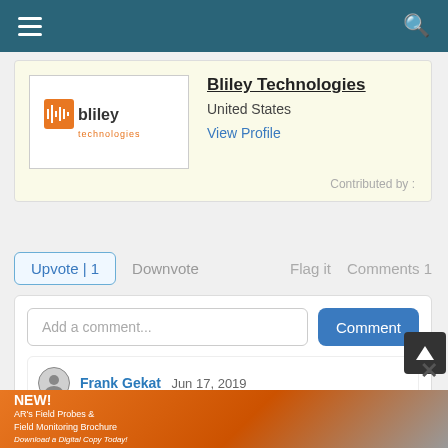Navigation bar with hamburger menu and search icon
[Figure (logo): Bliley Technologies logo with orange square icon and company name]
Bliley Technologies
United States
View Profile
Contributed by :
Upvote | 1   Downvote   Flag it   Comments 1
Add a comment...
Comment
Frank Gekat  Jun 17, 2019
It might be more interesting to compare GPSDOs with PLLs locked to a very stable source, in particular
[Figure (infographic): AR's Field Probes & Field Monitoring Brochure advertisement banner with orange background]